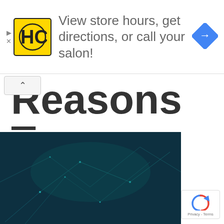[Figure (screenshot): Advertisement banner with HC logo (yellow square with HC letters), text 'View store hours, get directions, or call your salon!', and a blue navigation/directions diamond icon on the right. Ad controls (play and X) on the left edge.]
Reasons To Integrate Salesforce
[Figure (photo): Dark teal/blue abstract network or fiber optic light trails image, partially visible at bottom of page.]
[Figure (other): Google reCAPTCHA badge with circular arrow logo and 'Privacy - Terms' text.]